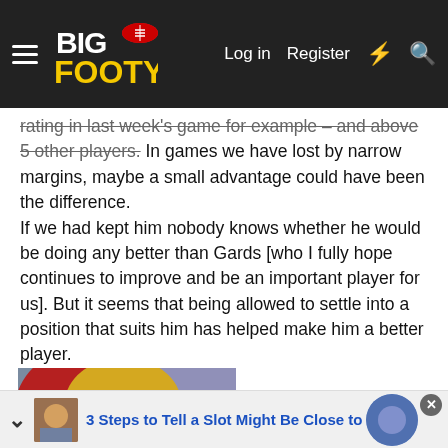BigFooty — Log in | Register
rating in last week's game for example – and above 5 other players. In games we have lost by narrow margins, maybe a small advantage could have been the difference.
If we had kept him nobody knows whether he would be doing any better than Gards [who I fully hope continues to improve and be an important player for us]. But it seems that being allowed to settle into a position that suits him has helped make him a better player.
[Figure (photo): Blonde woman with mouth open, appearing to shout or react, with a red chair and teal vase in background]
3 Steps to Tell a Slot Might Be Close to